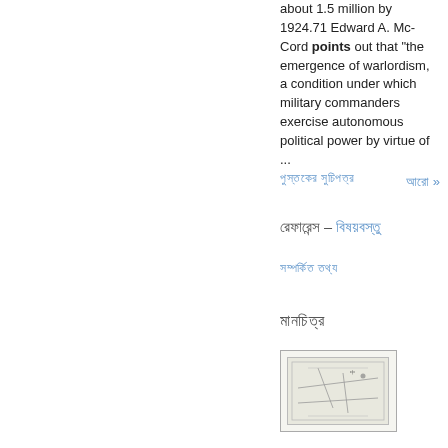about 1.5 million by 1924.71 Edward A. Mc-Cord points out that "the emergence of warlordism, a condition under which military commanders exercise autonomous political power by virtue of ...
আরো »
পুস্তকের সুচিপত্র
রেফারেন্স - বিষয়বস্তু
সম্পর্কিত তথ্য
মানচিত্র
[Figure (map): Small map image showing geographic region]